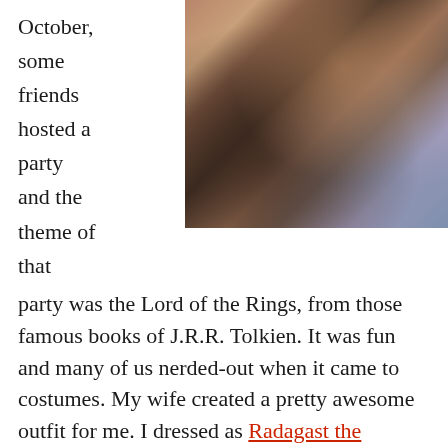October, some friends hosted a party and the theme of that
[Figure (photo): A photo of people in costumes at a party, dimly lit indoor setting with warm tones]
party was the Lord of the Rings, from those famous books of J.R.R. Tolkien. It was fun and many of us nerded-out when it came to costumes. My wife created a pretty awesome outfit for me. I dressed as Radagast the Brown, the eccentric wizard who loved animals and the forest and was probably a wee bit mental. The costume totally nailed it. I had a long beard, long hair with a birds nest in it. I looked just like him.